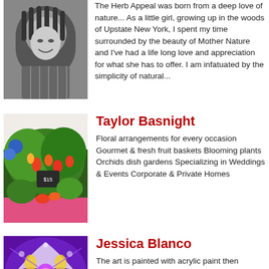[Figure (photo): Black and white portrait photo of a woman with dreadlocks, smiling]
The Herb Appeal was born from a deep love of nature... As a little girl, growing up in the woods of Upstate New York, I spent my time surrounded by the beauty of Mother Nature and I've had a life long love and appreciation for what she has to offer. I am infatuated by the simplicity of natural...
[Figure (photo): Photo of colorful floral arrangements including tropical flowers and a pink tablecloth at a market]
Taylor Basnight
Floral arrangements for every occasion Gourmet & fresh fruit baskets Blooming plants Orchids dish gardens Specializing in Weddings & Events Corporate & Private Homes
[Figure (photo): Purple and yellow fractal/digital butterfly art printed on acrylic]
Jessica Blanco
The art is painted with acrylic paint then photographed, digitally enhanced and printed on acrylic